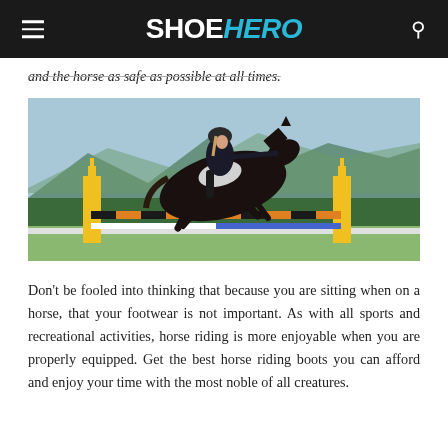SHOEHERO
and the horse as safe as possible at all times.
[Figure (photo): A rider in black jacket and helmet on a dark horse jumping over a yellow and black striped fence in an equestrian show jumping competition, with mountains and trees in the background.]
Don't be fooled into thinking that because you are sitting when on a horse, that your footwear is not important. As with all sports and recreational activities, horse riding is more enjoyable when you are properly equipped. Get the best horse riding boots you can afford and enjoy your time with the most noble of all creatures.